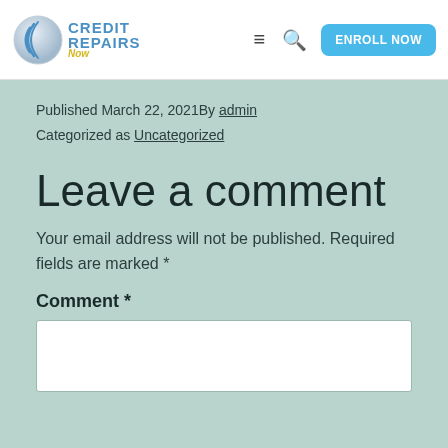[Figure (logo): Credit Repairs Now logo with blue circular icon and blue/yellow text]
Published March 22, 2021By admin
Categorized as Uncategorized
Leave a comment
Your email address will not be published. Required fields are marked *
Comment *